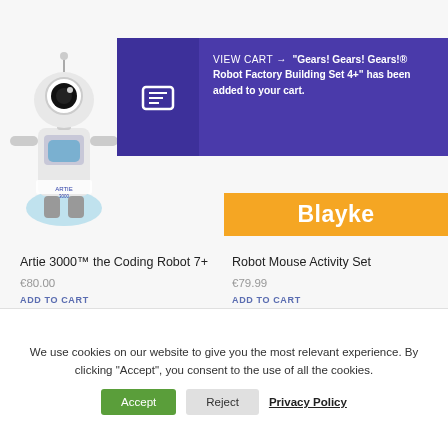[Figure (screenshot): E-commerce product page screenshot showing a robot toy (Artie 3000) image on the left, a purple notification banner saying VIEW CART with a cart icon, message about Gears! Robot Factory Building Set added to cart, an orange Blayke banner, and two product listings below.]
VIEW CART → "Gears! Gears! Gears!® Robot Factory Building Set 4+" has been added to your cart.
Blayke
Artie 3000™ the Coding Robot 7+
€80.00
ADD TO CART
Robot Mouse Activity Set
€79.99
ADD TO CART
We use cookies on our website to give you the most relevant experience. By clicking "Accept", you consent to the use of all the cookies.